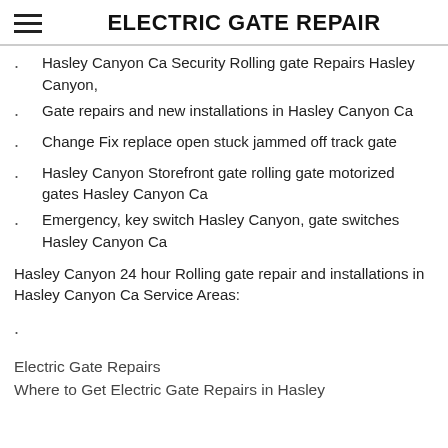ELECTRIC GATE REPAIR
Hasley Canyon Ca Security Rolling gate Repairs Hasley Canyon,
Gate repairs and new installations in Hasley Canyon Ca
Change Fix replace open stuck jammed off track gate
Hasley Canyon Storefront gate rolling gate motorized gates Hasley Canyon Ca
Emergency, key switch Hasley Canyon, gate switches Hasley Canyon Ca
Hasley Canyon 24 hour Rolling gate repair and installations in Hasley Canyon Ca Service Areas:
Electric Gate Repairs
Where to Get Electric Gate Repairs in Hasley